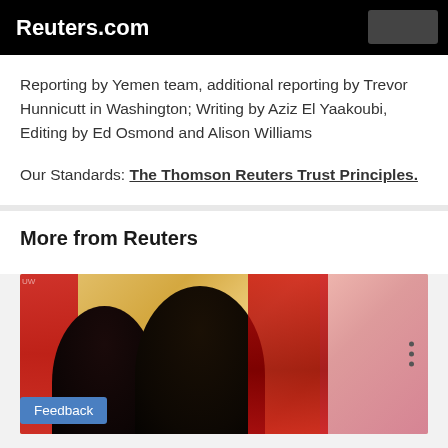Reuters.com
Reporting by Yemen team, additional reporting by Trevor Hunnicutt in Washington; Writing by Aziz El Yaakoubi, Editing by Ed Osmond and Alison Williams
Our Standards: The Thomson Reuters Trust Principles.
More from Reuters
[Figure (photo): News photo showing people at what appears to be an official event, with a red flag/banner on the left and a pink/red backdrop on the right. Three individuals visible including two dark silhouettes. A feedback button overlay is present at bottom left.]